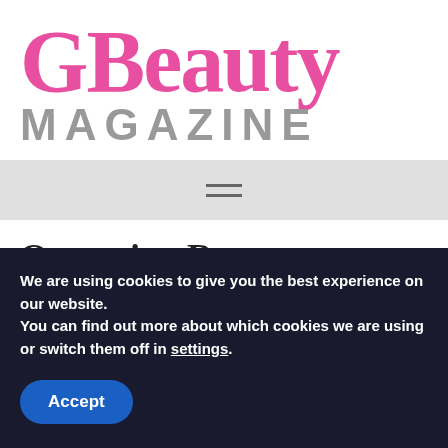[Figure (logo): GBeauty Magazine logo: 'GBeauty' in large pink serif font, 'MAGAZINE' in grey bold sans-serif below]
[Figure (other): Navigation bar with hamburger menu icon (three horizontal lines)]
Operating Room
We are using cookies to give you the best experience on our website.
You can find out more about which cookies we are using or switch them off in settings.
Accept